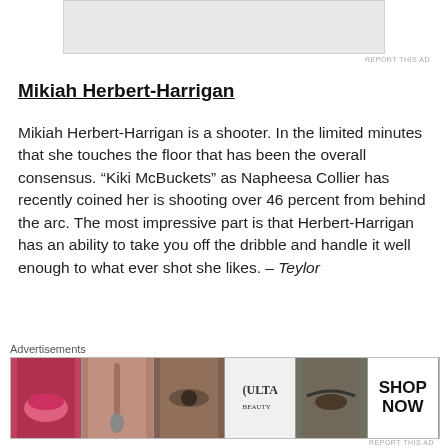[Figure (other): Top advertisement banner, gray rectangle]
REPORT THIS AD
Mikiah Herbert-Harrigan
Mikiah Herbert-Harrigan is a shooter. In the limited minutes that she touches the floor that has been the overall consensus. “Kiki McBuckets” as Napheesa Collier has recently coined her is shooting over 46 percent from behind the arc. The most impressive part is that Herbert-Harrigan has an ability to take you off the dribble and handle it well enough to what ever shot she likes. – Teylor
Tyasha Harris
[Figure (other): Bottom advertisement banner for ULTA beauty with makeup images and SHOP NOW text]